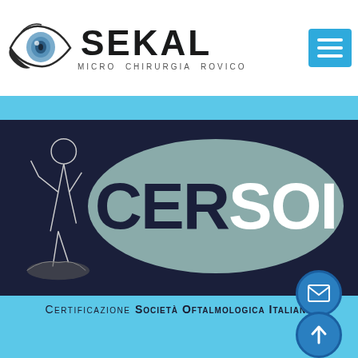[Figure (logo): SEKAL Micro Chirurgia Rovigo logo with eye icon and text]
[Figure (logo): CERSOI certification logo - dark blue background with grey oval containing CERSOI text and classical figure sketch]
CERTIFICAZIONE SOCIETÀ OFTALMOLOGICA ITALIANA
[Figure (other): Email contact icon button (blue circle with envelope icon)]
[Figure (other): Scroll to top button (blue circle with upward arrow icon)]